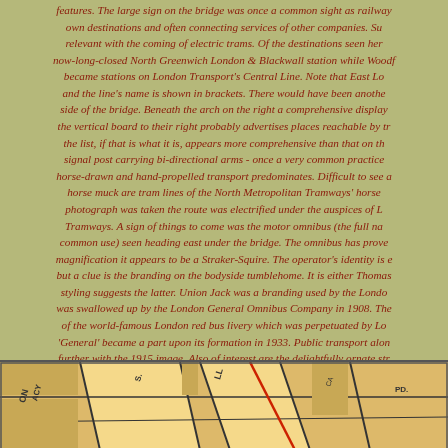features. The large sign on the bridge was once a common sight as railway own destinations and often connecting services of other companies. Su relevant with the coming of electric trams. Of the destinations seen he now-long-closed North Greenwich London & Blackwall station while Wood became stations on London Transport's Central Line. Note that East Lo and the line's name is shown in brackets. There would have been anothe side of the bridge. Beneath the arch on the right a comprehensive display the vertical board to their right probably advertises places reachable by tr the list, if that is what it is, appears more comprehensive than that on th signal post carrying bi-directional arms - once a very common practice horse-drawn and hand-propelled transport predominates. Difficult to see a horse muck are tram lines of the North Metropolitan Tramways' horse photograph was taken the route was electrified under the auspices of L Tramways. A sign of things to come was the motor omnibus (the full na common use) seen heading east under the bridge. The omnibus has prove magnification it appears to be a Straker-Squire. The operator's identity is e but a clue is the branding on the bodyside tumblehome. It is either Thomas styling suggests the latter. Union Jack was a branding used by the Londo was swallowed up by the London General Omnibus Company in 1908. The of the world-famous London red bus livery which was perpetuated by Lo 'General' became a part upon its formation in 1933. Public transport alon further with the 1915 image. Also of interest are the delightfully ornate str large lamp overhanging the road, there are also two smaller lamps on orna standard. These lamps were probably the work of the City of London Elect 1891 and which had a generating station at Bow and also owned Banksi The lamps along Bow Road would, at this time, have been DC as were m Copyright pho
[Figure (map): Partial view of an old street map showing road names and intersections, with tan/orange coloring and black lines, partially visible text including 'ACY', 'LL', and other partial street labels, with a red line visible.]